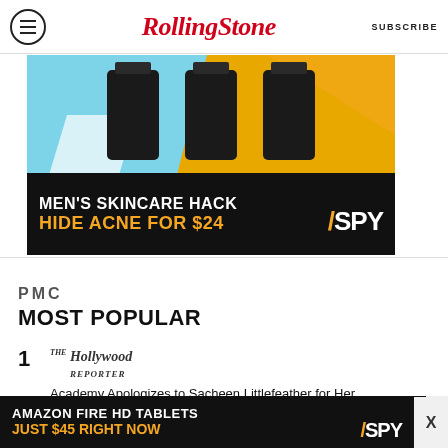Rolling Stone | SUBSCRIBE
[Figure (photo): Advertisement banner for SPY MEN'S SKINCARE HACK - HIDE ACNE FOR $24, showing black skincare product bottles on a colorful background]
[Figure (logo): PMC logo text]
MOST POPULAR
1 The Hollywood Reporter - Academy Apologizes to Sacheen Littlefeather for Her Mistreatment at the 1973 Oscars (Exclusive)
[Figure (photo): Advertisement banner for SPY AMAZON FIRE HD TABLETS JUST $45 RIGHT NOW]